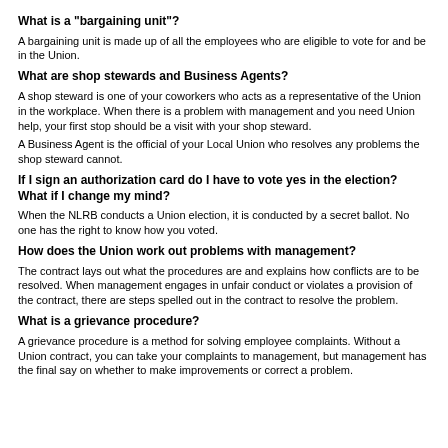What is a "bargaining unit"?
A bargaining unit is made up of all the employees who are eligible to vote for and be in the Union.
What are shop stewards and Business Agents?
A shop steward is one of your coworkers who acts as a representative of the Union in the workplace. When there is a problem with management and you need Union help, your first stop should be a visit with your shop steward.
A Business Agent is the official of your Local Union who resolves any problems the shop steward cannot.
If I sign an authorization card do I have to vote yes in the election? What if I change my mind?
When the NLRB conducts a Union election, it is conducted by a secret ballot. No one has the right to know how you voted.
How does the Union work out problems with management?
The contract lays out what the procedures are and explains how conflicts are to be resolved. When management engages in unfair conduct or violates a provision of the contract, there are steps spelled out in the contract to resolve the problem.
What is a grievance procedure?
A grievance procedure is a method for solving employee complaints. Without a Union contract, you can take your complaints to management, but management has the final say on whether to make improvements or correct a problem.